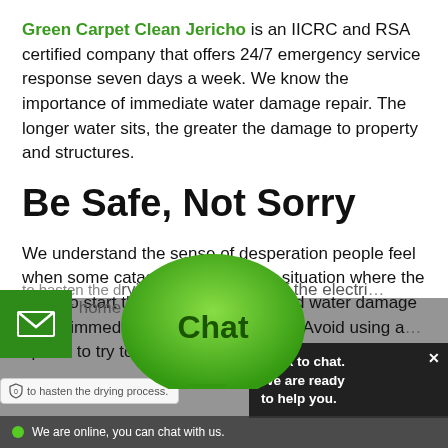Green Carpet Clean Jericho is an IICRC and RSA certified company that offers 24/7 emergency service response seven days a week. We know the importance of immediate water damage repair. The longer water sits, the greater the damage to property and structures.
Be Safe, Not Sorry
We understand the sense of desperation people feel when some catastrophe creates a situation where the need to start the flood restoration and water damage repair immediately may pro... onses. Avoid using a... op vac to try to remo... to hasten the drying process. Turn off the electri... to your home or busi...
[Figure (screenshot): Live chat widget overlay with green chat bubble labeled 'Chat', a dark popup box saying 'Click to chat. We are ready to help you.', an email icon button, a privacy badge, and an online status bar at the bottom reading 'We are online, you can chat with us.']